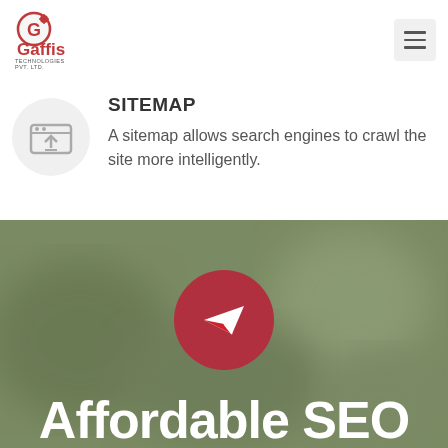[Figure (logo): Gaffis Technologies Pvt. Ltd. logo with red circular G icon and company name]
[Figure (other): Hamburger menu icon button in top right corner]
SITEMAP
[Figure (illustration): Gray circular icon with upload/browser window symbol]
A sitemap allows search engines to crawl the site more intelligently.
[Figure (illustration): Dark olive/green blurred background section with a red circle containing a white paper airplane send icon]
Affordable SEO